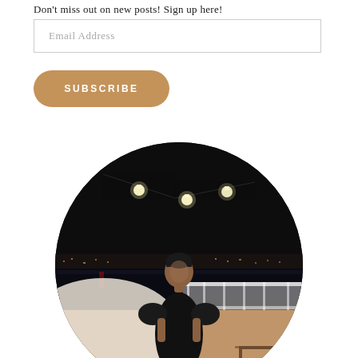Don't miss out on new posts! Sign up here!
Email Address
SUBSCRIBE
[Figure (photo): Circular cropped photo of a woman in a black dress standing on a deck/boat at night with city lights and water reflections in the background. String lights hang above.]